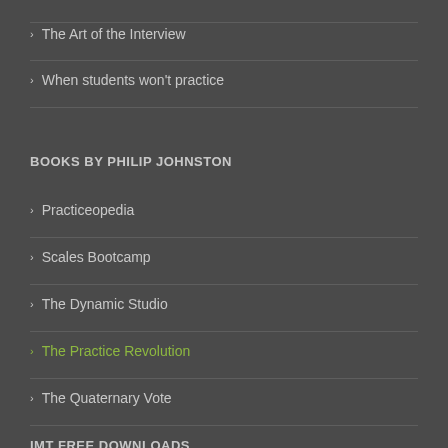The Art of the Interview
When students won't practice
BOOKS BY PHILIP JOHNSTON
Practiceopedia
Scales Bootcamp
The Dynamic Studio
The Practice Revolution
The Quaternary Vote
IMT FREE DOWNLOADS